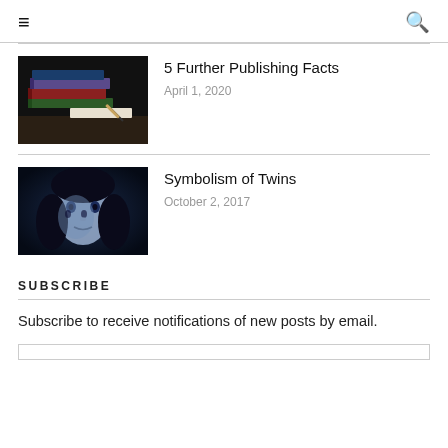≡  🔍
[Figure (photo): Stack of colorful books and a pencil on a dark background]
5 Further Publishing Facts
April 1, 2020
[Figure (photo): Surreal double-faced woman in blue tones]
Symbolism of Twins
October 2, 2017
SUBSCRIBE
Subscribe to receive notifications of new posts by email.